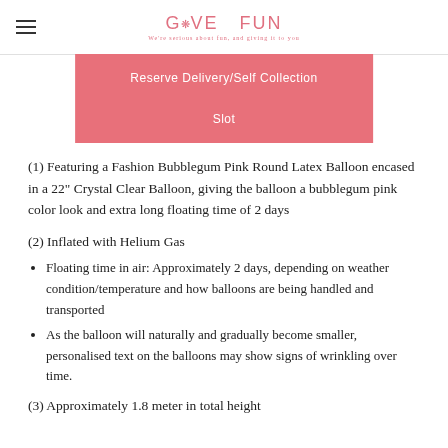GIVE FUN - We're serious about fun, and giving it to you
[Figure (other): Pink 'Reserve Delivery/Self Collection Slot' button banner]
(1) Featuring a Fashion Bubblegum Pink Round Latex Balloon encased in a 22" Crystal Clear Balloon, giving the balloon a bubblegum pink color look and extra long floating time of 2 days
(2) Inflated with Helium Gas
Floating time in air: Approximately 2 days, depending on weather condition/temperature and how balloons are being handled and transported
As the balloon will naturally and gradually become smaller, personalised text on the balloons may show signs of wrinkling over time.
(3) Approximately 1.8 meter in total height